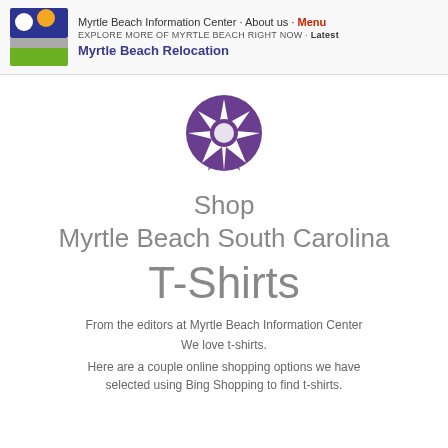Myrtle Beach Information Center · About us · Menu
EXPLORE MORE OF MYRTLE BEACH RIGHT NOW · Latest
Myrtle Beach Relocation
[Figure (logo): Purple sun/star circular icon for Myrtle Beach Information Center]
Shop Myrtle Beach South Carolina T-Shirts
From the editors at Myrtle Beach Information Center
We love t-shirts.
Here are a couple online shopping options we have selected using Bing Shopping to find t-shirts.